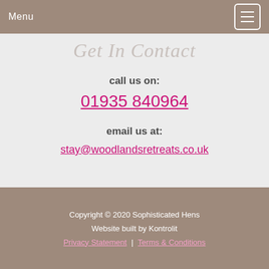Menu
Get In Contact
call us on:
01935 840964
email us at:
stay@woodlandsretreats.co.uk
Copyright © 2020 Sophisticated Hens
Website built by Kontrolit
Privacy Statement | Terms & Conditions